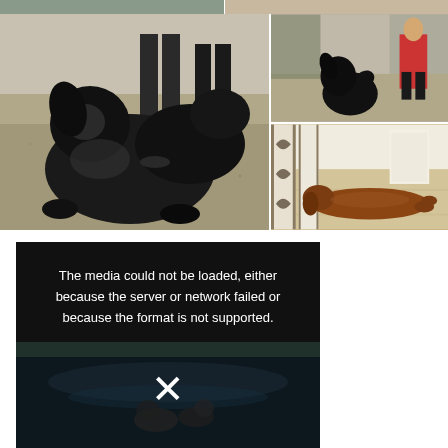[Figure (photo): Top strip of two photos partially visible: left shows sandy/outdoor scene, right shows outdoor scene with warm tones]
[Figure (photo): Large left photo: two black dogs playing/wrestling on sandy ground with people's legs visible in background]
[Figure (photo): Top right photo: black dog sitting/rolling on sandy ground, person in red jacket standing nearby]
[Figure (photo): Bottom right photo: brown/red dog lying on floor next to decorative screen/partition in indoor setting]
[Figure (photo): Media player with error message: 'The media could not be loaded, either because the server or network failed or because the format is not supported.' Dark background with faint image of dogs near water and large X symbol]